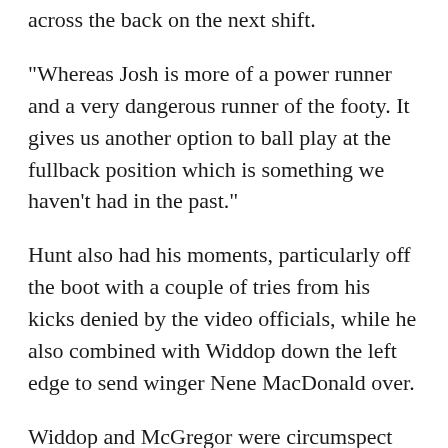across the back on the next shift.
"Whereas Josh is more of a power runner and a very dangerous runner of the footy. It gives us another option to ball play at the fullback position which is something we haven't had in the past."
Hunt also had his moments, particularly off the boot with a couple of tries from his kicks denied by the video officials, while he also combined with Widdop down the left edge to send winger Nene MacDonald over.
Widdop and McGregor were circumspect about the first outing for the star halves pairing, but